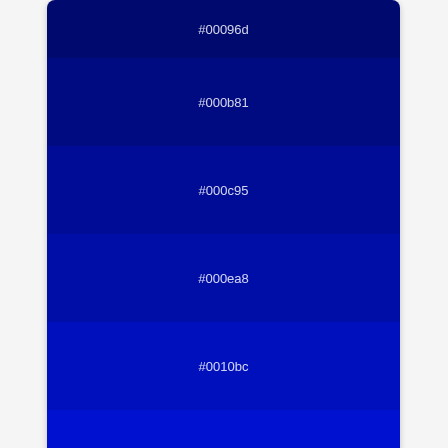[Figure (infographic): Color swatches showing blue shade variations with hex codes: #00096d, #000b81, #000c95, #000ea8, #0010bc, #0011cf, #0013e3, #0015f7]
Shade Color Variation
[Figure (infographic): Bottom color swatch showing #0b20ff blue shade]